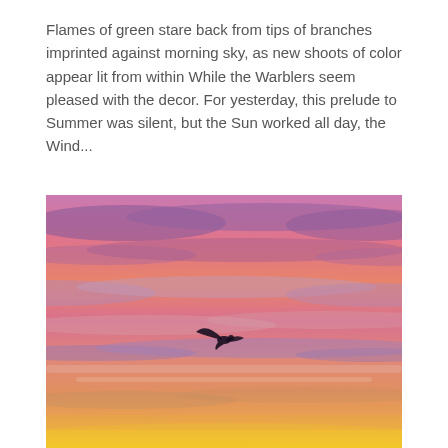Flames of green stare back from tips of branches imprinted against morning sky, as new shoots of color appear lit from within While the Warblers seem pleased with the decor. For yesterday, this prelude to Summer was silent, but the Sun worked all day, the Wind...
[Figure (photo): A sunset or sunrise sky with vivid pink, orange, and purple layered clouds. A single bird silhouette is visible in the center-middle of the image, flying against the colorful sky. The horizon glows with warm orange and yellow tones at the bottom.]